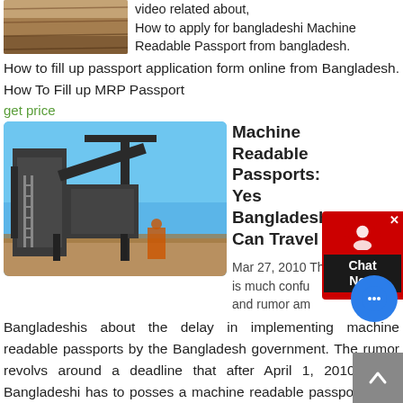[Figure (photo): A close-up photo of a wooden surface or planks, brownish texture]
video related about, How to apply for bangladeshi Machine Readable Passport from bangladesh. How to fill up passport application form online from Bangladesh. How To Fill up MRP Passport
get price
[Figure (photo): A construction site with large industrial machinery (crane, conveyor belt, metal structures) against a blue sky]
Machine Readable Passports: Yes Bangladeshis Can Travel
Mar 27, 2010 There is much confusion and rumor among Bangladeshis about the delay in implementing machine readable passports by the Bangladesh government. The rumor revolvs around a deadline that after April 1, 2010 every Bangladeshi has to posses a machine readable passport to be able to travel to other countries. We all know that Bangladesh government has